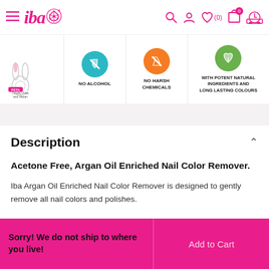iba (navigation header with hamburger menu, logo, search, account, wishlist (0), cart (0), delivery icons)
[Figure (infographic): Product feature icons strip: Cruelty-Free and Vegan (PETA bunny logo), No Alcohol (teal circle), No Harsh Chemicals (orange circle), With Potent Natural Ingredients and Long Lasting Colours (green circle)]
Description
Acetone Free, Argan Oil Enriched Nail Color Remover.
Iba Argan Oil Enriched Nail Color Remover is designed to gently remove all nail colors and polishes.
Sorry! We do not ship to where you live!
Add to Cart